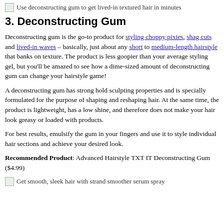[Figure (illustration): Small broken image icon followed by caption text: Use deconstructing gum to get lived-in textured hair in minutes]
3. Deconstructing Gum
Deconstructing gum is the go-to product for styling choppy pixies, shag cuts and lived-in waves – basically, just about any short to medium-length hairstyle that banks on texture. The product is less goopier than your average styling gel, but you'll be amazed to see how a dime-sized amount of deconstructing gum can change your hairstyle game!
A deconstructing gum has strong hold sculpting properties and is specially formulated for the purpose of shaping and reshaping hair. At the same time, the product is lightweight, has a low shine, and therefore does not make your hair look greasy or loaded with products.
For best results, emulsify the gum in your fingers and use it to style individual hair sections and achieve your desired look.
Recommended Product: Advanced Hairstyle TXT IT Deconstructing Gum ($4.99)
[Figure (illustration): Small broken image icon followed by caption text: Get smooth, sleek hair with strand smoother serum spray]